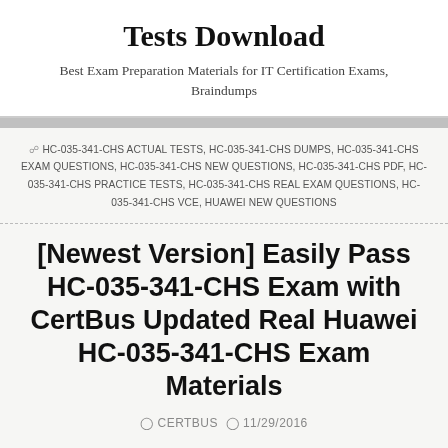Tests Download
Best Exam Preparation Materials for IT Certification Exams, Braindumps
HC-035-341-CHS ACTUAL TESTS, HC-035-341-CHS DUMPS, HC-035-341-CHS EXAM QUESTIONS, HC-035-341-CHS NEW QUESTIONS, HC-035-341-CHS PDF, HC-035-341-CHS PRACTICE TESTS, HC-035-341-CHS REAL EXAM QUESTIONS, HC-035-341-CHS VCE, HUAWEI NEW QUESTIONS
[Newest Version] Easily Pass HC-035-341-CHS Exam with CertBus Updated Real Huawei HC-035-341-CHS Exam Materials
CERTBUS  11/29/2016
Tens of thousands of competitors, pages of hard questions and unsatisfied exam preparation situations… Do not worried